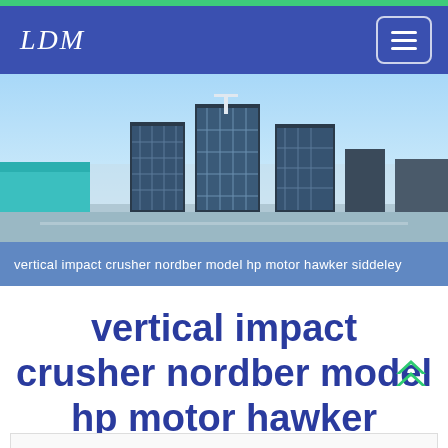LDM
[Figure (photo): Aerial/skyline photo of industrial or commercial buildings under a blue sky with light clouds]
vertical impact crusher nordber model hp motor hawker siddeley
vertical impact crusher nordber model hp motor hawker siddeley